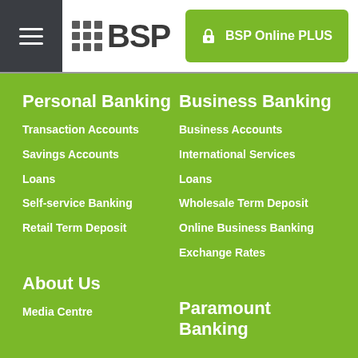[Figure (logo): BSP bank logo with grid icon and BSP text]
BSP Online PLUS
Personal Banking
Transaction Accounts
Savings Accounts
Loans
Self-service Banking
Retail Term Deposit
Business Banking
Business Accounts
International Services
Loans
Wholesale Term Deposit
Online Business Banking
Exchange Rates
About Us
Media Centre
Paramount Banking